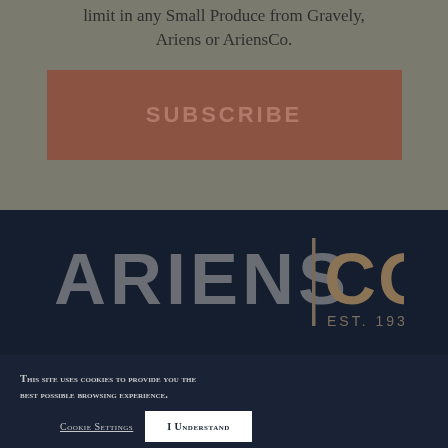limit in any Small Produce from Gravely, Ariens or AriensCo.
SUBSCRIBE
[Figure (logo): AriensCo logo with 'ARIENS | CO EST. 1933' text in dark navy background]
This site uses cookies to provide you the best possible browsing experience.
Cookie Settings
I Understand